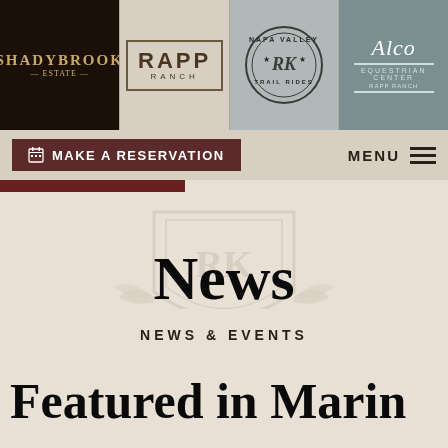[Figure (logo): Shadybrook Estate logo — white/gold text on black background]
[Figure (logo): Rapp Ranch logo — dark text in rectangular border on tan background]
[Figure (logo): Napa Valley Trail Rides circular badge logo on grey background]
[Figure (logo): Alko Equestrian Center script logo on teal background]
MAKE A RESERVATION    MENU
News
NEWS & EVENTS
Featured in Marin